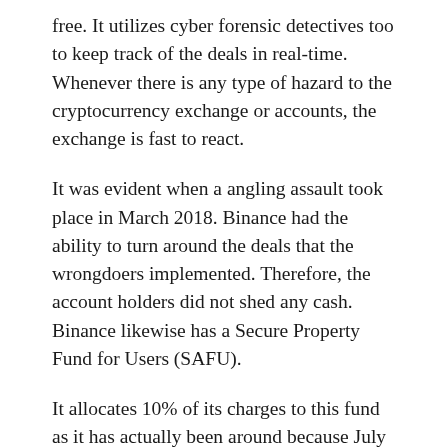free. It utilizes cyber forensic detectives too to keep track of the deals in real-time. Whenever there is any type of hazard to the cryptocurrency exchange or accounts, the exchange is fast to react.
It was evident when a angling assault took place in March 2018. Binance had the ability to turn around the deals that the wrongdoers implemented. Therefore, the account holders did not shed any cash. Binance likewise has a Secure Property Fund for Users (SAFU).
It allocates 10% of its charges to this fund as it has actually been around because July 2018. In case, the customers shed any cash because of hacking or fishing efforts, Binance can